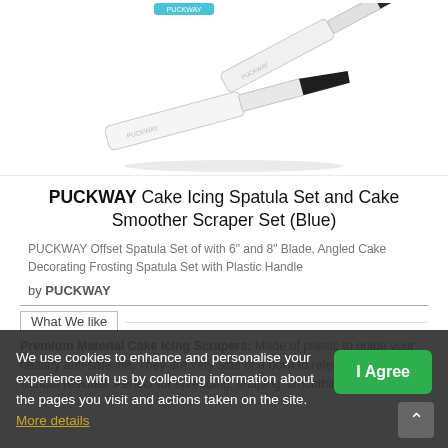[Figure (photo): Product photo showing two white cake icing spatulas / offset spatulas with black tips arranged diagonally on a white background with a small blue PUCKWAY logo visible at top.]
PUCKWAY Cake Icing Spatula Set and Cake Smoother Scraper Set (Blue)
PUCKWAY Offset Spatula Set of with 6" and 8" Blade, Angled Cake Decorating Frosting Spatula Set with Plastic Handle
by PUCKWAY
What We like
Premium Material Cake Icing Scrapers: Made of plastic to guide your healthy anti-safe life. They are very side of a bowl to release dough without residual. Perfect for spreading, shaping, smoothing, and creating
We use cookies to enhance and personalise your experience with us by collecting information about the pages you visit and actions taken on the site. More details